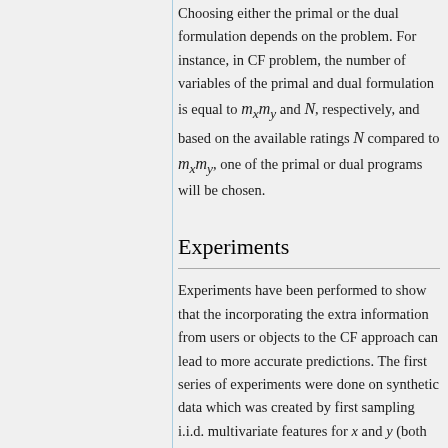Choosing either the primal or the dual formulation depends on the problem. For instance, in CF problem, the number of variables of the primal and dual formulation is equal to m_x m_y and N, respectively, and based on the available ratings N compared to m_x m_y, one of the primal or dual programs will be chosen.
Experiments
Experiments have been performed to show that the incorporating the extra information from users or objects to the CF approach can lead to more accurate predictions. The first series of experiments were done on synthetic data which was created by first sampling i.i.d. multivariate features for x and y (both of dimension 6). Next, they